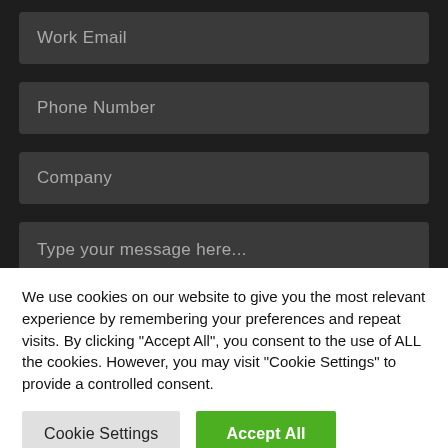Work Email
Phone Number
Company
Type your message here...
We use cookies on our website to give you the most relevant experience by remembering your preferences and repeat visits. By clicking “Accept All”, you consent to the use of ALL the cookies. However, you may visit "Cookie Settings" to provide a controlled consent.
Cookie Settings
Accept All